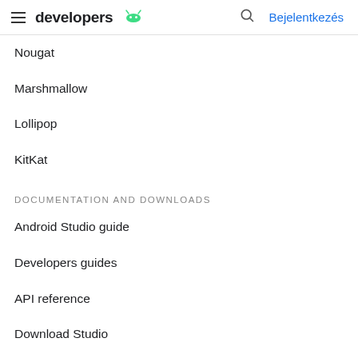developers | Bejelentkezés
Nougat
Marshmallow
Lollipop
KitKat
DOCUMENTATION AND DOWNLOADS
Android Studio guide
Developers guides
API reference
Download Studio
Android NDK
SUPPORT
Report platform bug